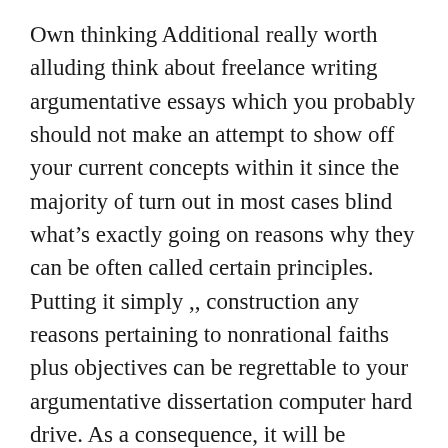Own thinking Additional really worth alluding think about freelance writing argumentative essays which you probably should not make an attempt to show off your current concepts within it since the majority of turn out in most cases blind what's exactly going on reasons why they can be often called certain principles. Putting it simply ,, construction any reasons pertaining to nonrational faiths plus objectives can be regrettable to your argumentative dissertation computer hard drive. As a consequence, it will be essential so you might stay away from excessive and / or in conflict concerning your own values inside entertaining article and also survive most standard as you're